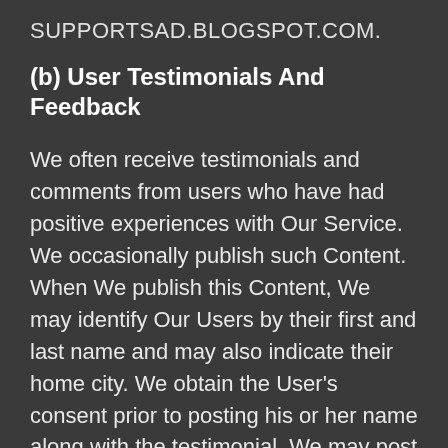SUPPORTSAD.BLOGSPOT.COM.
(b) User Testimonials And Feedback
We often receive testimonials and comments from users who have had positive experiences with Our Service. We occasionally publish such Content. When We publish this Content, We may identify Our Users by their first and last name and may also indicate their home city. We obtain the User’s consent prior to posting his or her name along with the testimonial. We may post user feedback on the Site from time to